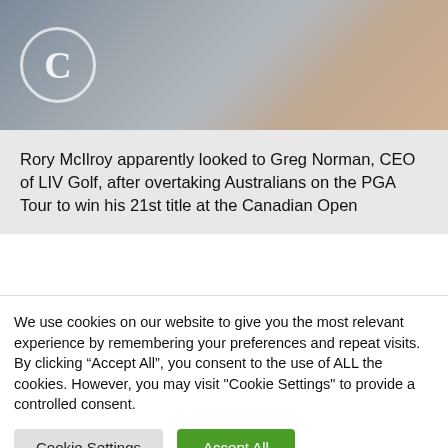[Figure (photo): Photo of a person being interviewed with a microphone, crowd in background. A circular logo is visible in upper left.]
Rory McIlroy apparently looked to Greg Norman, CEO of LIV Golf, after overtaking Australians on the PGA Tour to win his 21st title at the Canadian Open
Rory McIlroy apparently looked to Greg Norman, CEO of LIV Golf, after overtaking Australians on the PGA Tour to win his 21st
We use cookies on our website to give you the most relevant experience by remembering your preferences and repeat visits. By clicking “Accept All”, you consent to the use of ALL the cookies. However, you may visit "Cookie Settings" to provide a controlled consent.